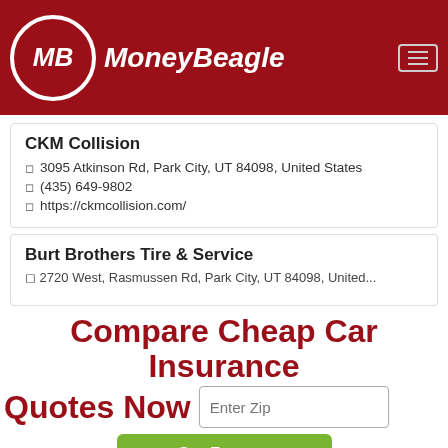MoneyBeagle
CKM Collision
3095 Atkinson Rd, Park City, UT 84098, United States
(435) 649-9802
https://ckmcollision.com/
Burt Brothers Tire & Service
2720 West Rasmussen Rd, Park City, UT 84098, United...
Compare Cheap Car Insurance Quotes Now
Enter Zip
Get Rates >